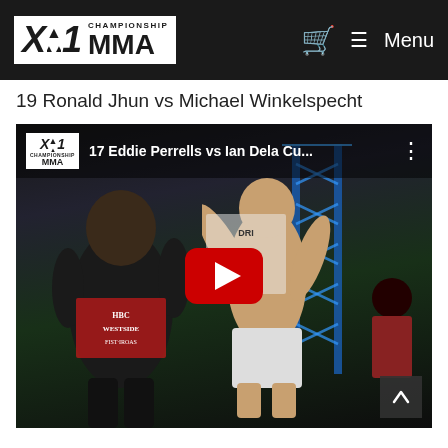X1 Championship MMA — Navigation bar with cart and menu
19 Ronald Jhun vs Michael Winkelspecht
[Figure (screenshot): YouTube video thumbnail of an X1 Championship MMA fight, titled '17 Eddie Perrells vs Ian Dela Cu...' showing two fighters grappling in a cage with a referee watching, blue lighting structure in background, red YouTube play button overlay centered]
Scroll to top button